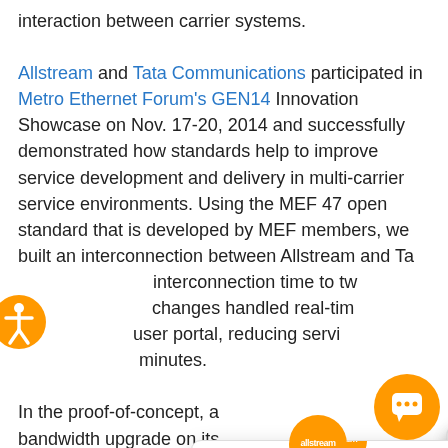interaction between carrier systems.
Allstream and Tata Communications participated in Metro Ethernet Forum's GEN14 Innovation Showcase on Nov. 17-20, 2014 and successfully demonstrated how standards help to improve service development and delivery in multi-carrier service environments. Using the MEF 47 open standard that is developed by MEF members, we built an interconnection between Allstream and Tata ... interconnection time to tw... changes handled real-time... user portal, reducing servi... minutes.
In the proof-of-concept, a... bandwidth upgrade on its ... (EPL) in order to support its video streaming application from the cloud and places the bandwidth increase request on Tata's user portal. The bandwidth change request trig... series of automated interactions on Tata's and Allstream's ...
[Figure (screenshot): Allstream popup chat widget showing: orange Allstream logo circle, X close button, and message 'Welcome to Allstream – North America's leading all-business provider of voice and collaboration, connectivity and managed IT.' Also: orange accessibility button on left, orange chat bubble button bottom right.]